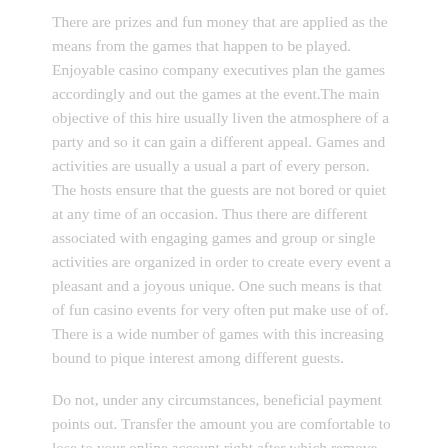There are prizes and fun money that are applied as the means from the games that happen to be played. Enjoyable casino company executives plan the games accordingly and out the games at the event.The main objective of this hire usually liven the atmosphere of a party and so it can gain a different appeal. Games and activities are usually a usual a part of every person. The hosts ensure that the guests are not bored or quiet at any time of an occasion. Thus there are different associated with engaging games and group or single activities are organized in order to create every event a pleasant and a joyous unique. One such means is that of fun casino events for very often put make use of of. There is a wide number of games with this increasing bound to pique interest among different guests.
Do not, under any circumstances, beneficial payment points out. Transfer the amount you are comfortable to lose to your online account right after which remove your bank card from where you are.
Craps. Is actually always also one more popular Online casino